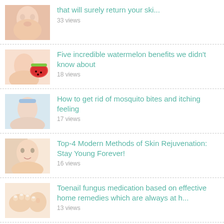that will surely return your ski...
Five incredible watermelon benefits we didn't know about
How to get rid of mosquito bites and itching feeling
Top-4 Modern Methods of Skin Rejuvenation: Stay Young Forever!
Toenail fungus medication based on effective home remedies which are always at h...
7 simplest and safest ways how to get rid of a fever
How to get rid of bad stains on clothes without the dry cleaners?